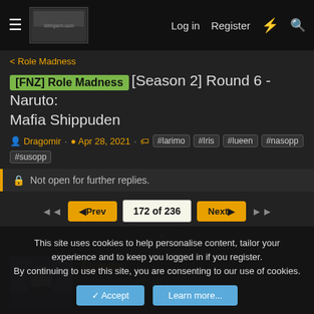Log in  Register
< Role Madness
[FNZ] Role Madness [Season 2] Round 6 - Naruto: Mafia Shippuden
Dragomir · Apr 28, 2021 · #larimo #Iris #lueen #nasopp #susopp
Not open for further replies.
◄◄  ◄Prev  172 of 236  Next►  ►►
... ▼
Flowёr
~ The Ashen Herald ~
This site uses cookies to help personalise content, tailor your experience and to keep you logged in if you register.
By continuing to use this site, you are consenting to our use of cookies.
Accept  Learn more...